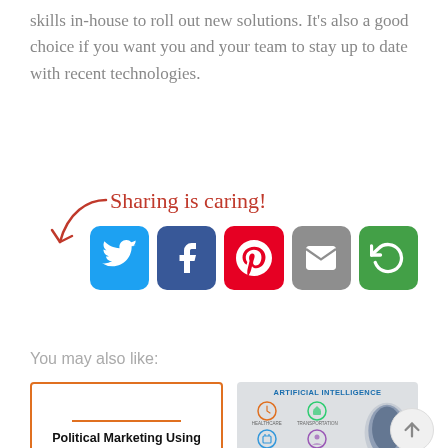skills in-house to roll out new solutions. It's also a good choice if you want you and your team to stay up to date with recent technologies.
[Figure (infographic): Sharing is caring! banner with social media icons: Twitter (blue), Facebook (dark blue), Pinterest (red), Email (gray), and a green share icon, with a red cursive arrow pointing to the icons.]
You may also like:
[Figure (infographic): Thumbnail for article: Political Marketing Using Artificial Intelligence, with orange border and horizontal line accent.]
[Figure (infographic): Thumbnail for article: Artificial Intelligence with icon grid and blue digital head graphic.]
Benefits of Using Artificial
Which industries have been able